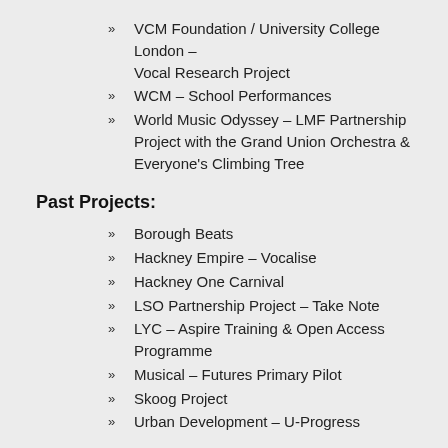VCM Foundation / University College London – Vocal Research Project
WCM – School Performances
World Music Odyssey – LMF Partnership Project with the Grand Union Orchestra & Everyone's Climbing Tree
Past Projects:
Borough Beats
Hackney Empire – Vocalise
Hackney One Carnival
LSO Partnership Project – Take Note
LYC – Aspire Training & Open Access Programme
Musical – Futures Primary Pilot
Skoog Project
Urban Development – U-Progress